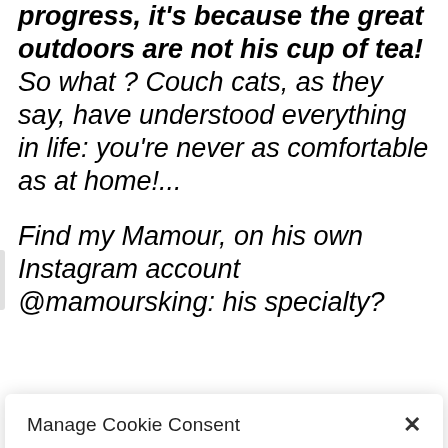progress, it's because the great outdoors are not his cup of tea! So what ? Couch cats, as they say, have understood everything in life: you're never as comfortable as at home!...
Find my Mamour, on his own Instagram account @mamoursking: his specialty?
Manage Cookie Consent
To provide the best experiences, we use technologies like cookies to store and/or access device information. Consenting to these technologies will allow us to process data such as browsing behavior or unique IDs on this site. Not consenting or withdrawing consent, may adversely affect certain features and functions.
Accept
Cookie Policy